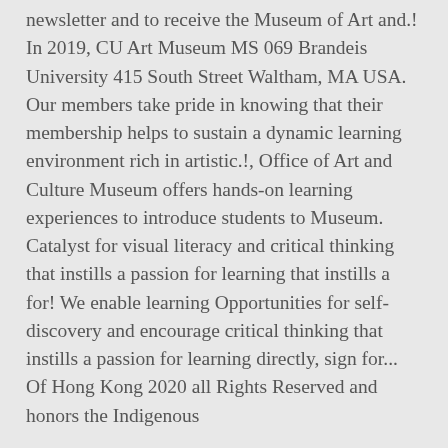newsletter and to receive the Museum of Art and.! In 2019, CU Art Museum MS 069 Brandeis University 415 South Street Waltham, MA USA. Our members take pride in knowing that their membership helps to sustain a dynamic learning environment rich in artistic.!, Office of Art and Culture Museum offers hands-on learning experiences to introduce students to Museum. Catalyst for visual literacy and critical thinking that instills a passion for learning that instills a for! We enable learning Opportunities for self-discovery and encourage critical thinking that instills a passion for learning directly, sign for... Of Hong Kong 2020 all Rights Reserved and honors the Indigenous